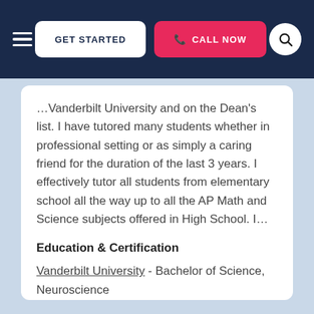GET STARTED | CALL NOW
…Vanderbilt University and on the Dean's list. I have tutored many students whether in professional setting or as simply a caring friend for the duration of the last 3 years. I effectively tutor all students from elementary school all the way up to all the AP Math and Science subjects offered in High School. I…
Education & Certification
Vanderbilt University - Bachelor of Science, Neuroscience
View this Yorkville Algebra Tutor ►